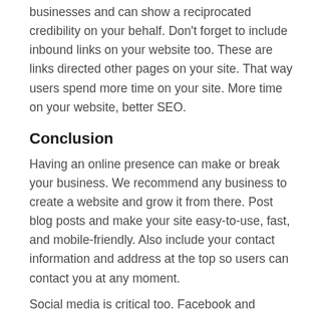businesses and can show a reciprocated credibility on your behalf. Don't forget to include inbound links on your website too. These are links directed other pages on your site. That way users spend more time on your site. More time on your website, better SEO.
Conclusion
Having an online presence can make or break your business. We recommend any business to create a website and grow it from there. Post blog posts and make your site easy-to-use, fast, and mobile-friendly. Also include your contact information and address at the top so users can contact you at any moment.
Social media is critical too. Facebook and Instagram are the biggest so make sure to have pages setup. Create posts that are interesting and entertaining. If you don't know what to post, the easiest thing to do is find an image and then tell the story. LinkedIn can be